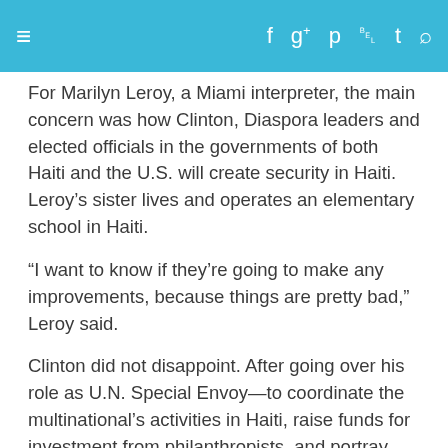≡  f  g+  p  rss  twitter  search
For Marilyn Leroy, a Miami interpreter, the main concern was how Clinton, Diaspora leaders and elected officials in the governments of both Haiti and the U.S. will create security in Haiti. Leroy's sister lives and operates an elementary school in Haiti.
“I want to know if they’re going to make any improvements, because things are pretty bad,” Leroy said.
Clinton did not disappoint. After going over his role as U.N. Special Envoy—to coordinate the multinational’s activities in Haiti, raise funds for investment from philanthropists, and portray positive images of the country – Clinton launched into a list of projects and money he’s secured from his friends around the world.
The U.S. State Department’s downgrading of its advisory for travel to Haiti from dangerous is an important first step that Clinton said he helped pass. Advocates for the change had long said changing the advisory would help people feel comfortable about traveling there for business and pleasure, and pump